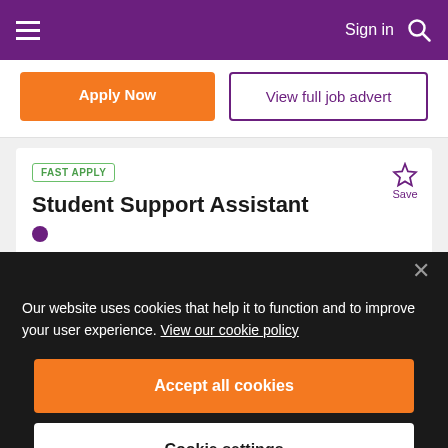Sign in
Apply Now
View full job advert
FAST APPLY
Student Support Assistant
Our website uses cookies that help it to function and to improve your user experience. View our cookie policy
Accept all cookies
Cookie settings